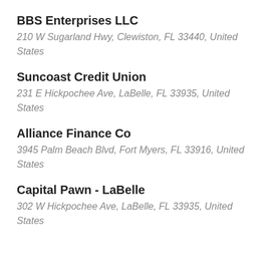BBS Enterprises LLC
210 W Sugarland Hwy, Clewiston, FL 33440, United States
Suncoast Credit Union
231 E Hickpochee Ave, LaBelle, FL 33935, United States
Alliance Finance Co
3945 Palm Beach Blvd, Fort Myers, FL 33916, United States
Capital Pawn - LaBelle
302 W Hickpochee Ave, LaBelle, FL 33935, United States